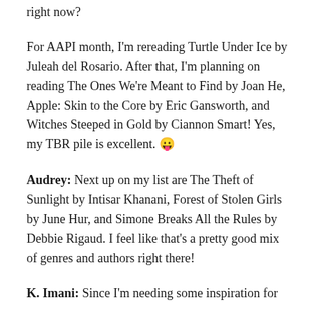right now?
For AAPI month, I'm rereading Turtle Under Ice by Juleah del Rosario. After that, I'm planning on reading The Ones We're Meant to Find by Joan He, Apple: Skin to the Core by Eric Gansworth, and Witches Steeped in Gold by Ciannon Smart! Yes, my TBR pile is excellent. 😛
Audrey: Next up on my list are The Theft of Sunlight by Intisar Khanani, Forest of Stolen Girls by June Hur, and Simone Breaks All the Rules by Debbie Rigaud. I feel like that's a pretty good mix of genres and authors right there!
K. Imani: Since I'm needing some inspiration for